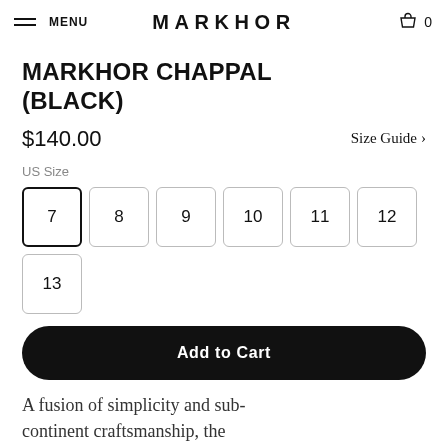MENU  MARKHOR  0
MARKHOR CHAPPAL (BLACK)
$140.00   Size Guide >
US Size
7  8  9  10  11  12  13
Add to Cart
A fusion of simplicity and sub-continent craftsmanship, the